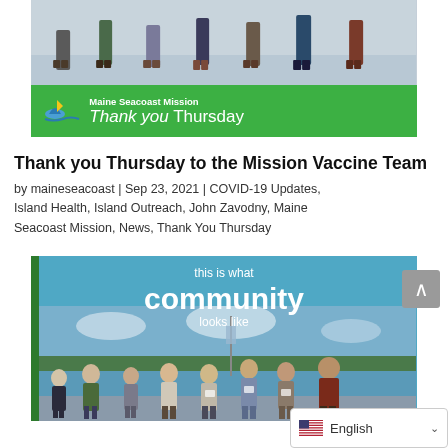[Figure (photo): Top portion of a photo showing people's feet and legs standing on a boat deck, cropped at the top of the page]
[Figure (photo): Green banner with Maine Seacoast Mission logo and text 'Thank you Thursday' in white italic and regular font on green background]
Thank you Thursday to the Mission Vaccine Team
by maineseacoast | Sep 23, 2021 | COVID-19 Updates, Island Health, Island Outreach, John Zavodny, Maine Seacoast Mission, News, Thank You Thursday
[Figure (photo): Blue background graphic with text 'this is what community looks like' overlaid on a photo of a group of people standing on a boat dock with water and trees in the background]
English